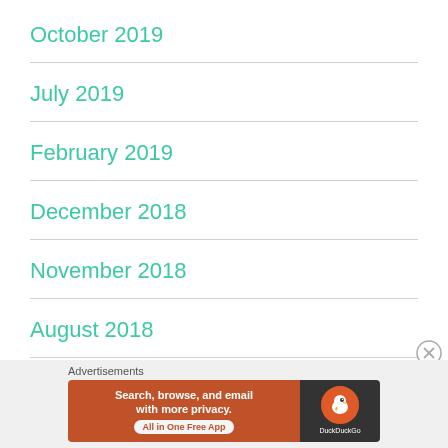October 2019
July 2019
February 2019
December 2018
November 2018
August 2018
July 2018
[Figure (screenshot): DuckDuckGo advertisement banner: orange left side with text 'Search, browse, and email with more privacy. All in One Free App', dark right side with DuckDuckGo duck logo and brand name]